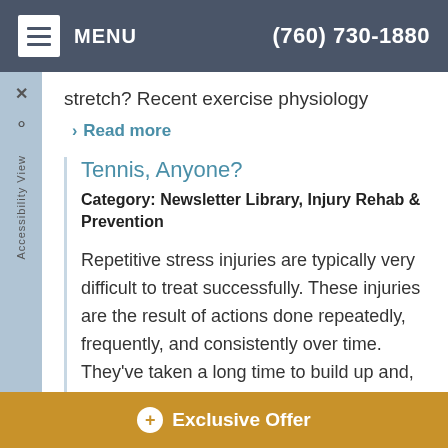MENU  (760) 730-1880
stretch? Recent exercise physiology
> Read more
Tennis, Anyone?
Category: Newsletter Library, Injury Rehab & Prevention
Repetitive stress injuries are typically very difficult to treat successfully. These injuries are the result of actions done repeatedly, frequently, and consistently over time. They've taken a long time to build up and, therefore, the healing process also requires a fair amount of time. Shin splints,
+ Exclusive Offer